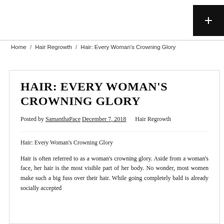+
Home / Hair Regrowth / Hair: Every Woman's Crowning Glory
HAIR: EVERY WOMAN'S CROWNING GLORY
Posted by SamanthaPace December 7, 2018   Hair Regrowth
Hair: Every Woman's Crowning Glory
Hair is often referred to as a woman's crowning glory. Aside from a woman's face, her hair is the most visible part of her body. No wonder, most women make such a big fuss over their hair. While going completely bald is already socially accepted